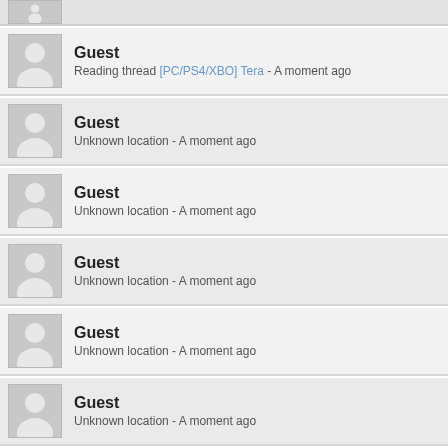Guest (partial, cropped avatar)
Guest - Reading thread [PC/PS4/XBO] Tera - A moment ago
Guest - Unknown location - A moment ago
Guest - Unknown location - A moment ago
Guest - Unknown location - A moment ago
Guest - Unknown location - A moment ago
Guest - Unknown location - A moment ago
Guest - Viewing forum index - A moment ago (partial)